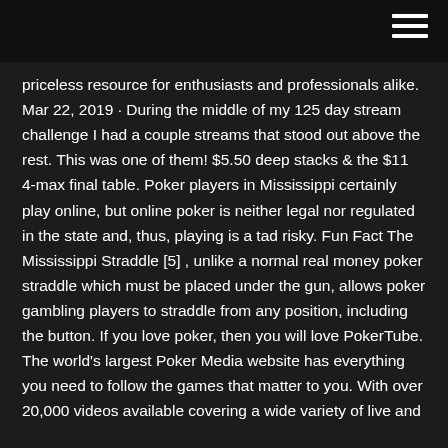priceless resource for enthusiasts and professionals alike. Mar 22, 2019 · During the middle of my 125 day stream challenge I had a couple streams that stood out above the rest. This was one of them! $5.50 deep stacks & the $11 4-max final table. Poker players in Mississippi certainly play online, but online poker is neither legal nor regulated in the state and, thus, playing is a tad risky. Fun Fact The Mississippi Straddle [5] , unlike a normal real money poker straddle which must be placed under the gun, allows poker gambling players to straddle from any position, including the button. If you love poker, then you will love PokerTube. The world's largest Poker Media website has everything you need to follow the games that matter to you. With over 20,000 videos available covering a wide variety of live and